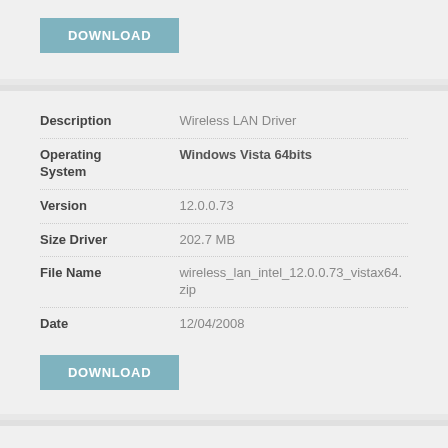DOWNLOAD
| Field | Value |
| --- | --- |
| Description | Wireless LAN Driver |
| Operating System | Windows Vista 64bits |
| Version | 12.0.0.73 |
| Size Driver | 202.7 MB |
| File Name | wireless_lan_intel_12.0.0.73_vistax64.zip |
| Date | 12/04/2008 |
DOWNLOAD
| Field | Value |
| --- | --- |
| Description | Wireless LAN Driver |
| Operating System | Windows Vista 64bits |